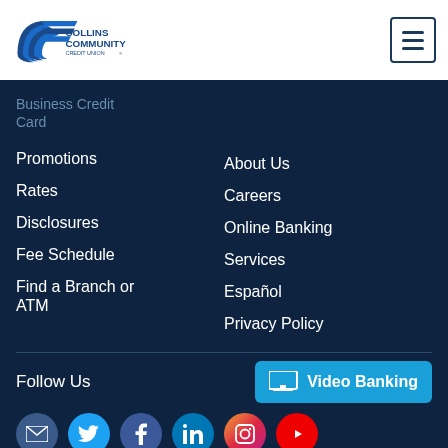[Figure (logo): Collins Community Credit Union logo with stylized 'C' emblem in navy blue]
Business Credit Card
Promotions
Rates
Disclosures
Fee Schedule
Find a Branch or ATM
About Us
Careers
Online Banking
Services
Español
Privacy Policy
Follow Us
Video Banking